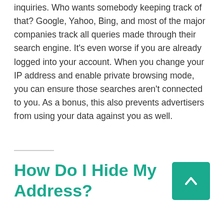inquiries. Who wants somebody keeping track of that? Google, Yahoo, Bing, and most of the major companies track all queries made through their search engine. It's even worse if you are already logged into your account. When you change your IP address and enable private browsing mode, you can ensure those searches aren't connected to you. As a bonus, this also prevents advertisers from using your data against you as well.
How Do I Hide My Address?